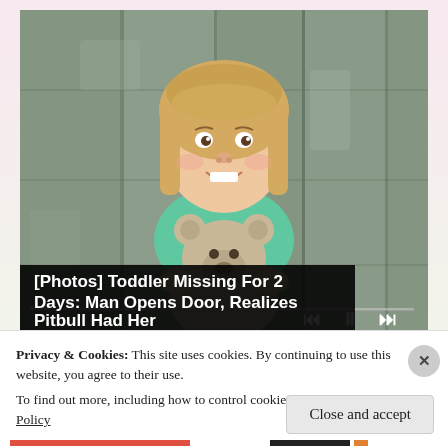[Figure (photo): A smiling toddler girl with blonde hair holding a stuffed teddy bear, against a wooden door background. Video player controls (skip back, pause, skip forward) visible at bottom right, with a progress bar. A black overlay caption reads '[Photos] Toddler Missing For 2 Days: Man Opens Door, Realizes Pitbull Had Her'.]
Privacy & Cookies: This site uses cookies. By continuing to use this website, you agree to their use.
To find out more, including how to control cookies, see here: Cookie Policy
Close and accept